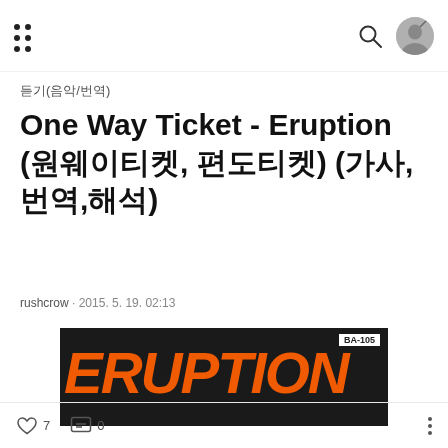Navigation header with menu dots, search icon, and profile avatar
듣기(음악/번역)
One Way Ticket - Eruption (원웨이티켓, 편도티켓) (가사,번역,해석)
rushcrow · 2015. 5. 19. 02:13
[Figure (photo): Album cover image showing the word ERUPTION in large bold orange italic text on a dark background, with label BA-105 in top right corner]
♡ 7   💬 0   ···